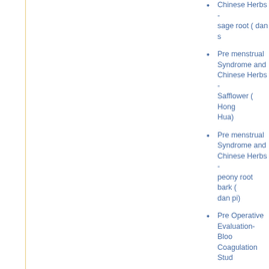Chinese Herbs - sage root ( dan s
Pre menstrual Syndrome and Chinese Herbs - Safflower ( Hong Hua)
Pre menstrual Syndrome and Chinese Herbs - peony root bark ( dan pi)
Pre Operative Evaluation- Blood Coagulation Stud
Pre Operative Evaluation- Urina studies and Endometrial Biop
Pre Operative Evaluations Before Endometrial Hysterectomy
Pre-menstrual Syndrome ( PMS and Alcohol